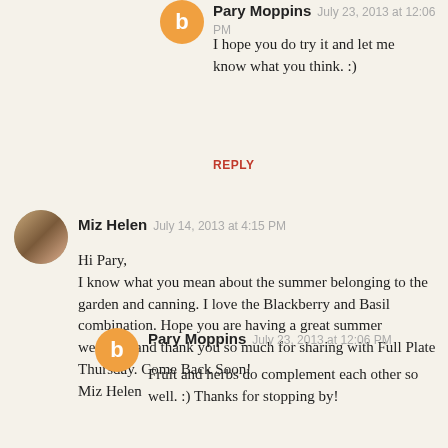Pary Moppins · July 23, 2013 at 12:06 PM
I hope you do try it and let me know what you think. :)
REPLY
Miz Helen · July 14, 2013 at 4:15 PM
Hi Pary,
I know what you mean about the summer belonging to the garden and canning. I love the Blackberry and Basil combination. Hope you are having a great summer weekend and thank you so much for sharing with Full Plate Thursday. Come Back Soon!
Miz Helen
Pary Moppins · July 23, 2013 at 12:06 PM
Fruit and herbs do complement each other so well. :) Thanks for stopping by!